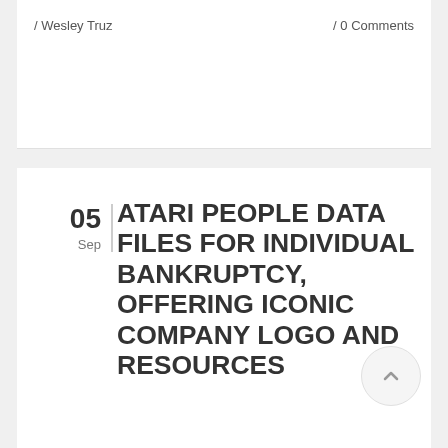/ Wesley Truz
/ 0 Comments
05 Sep
ATARI PEOPLE DATA FILES FOR INDIVIDUAL BANKRUPTCY, OFFERING ICONIC COMPANY LOGO AND RESOURCES
If you have fun texas hold'em, go to casinos frequently, or get texas hold'em snacks, it is important to know